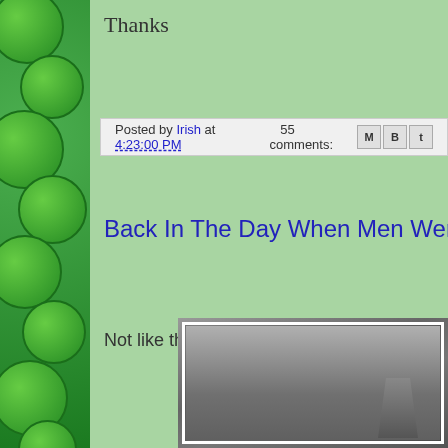Thanks
Posted by Irish at 4:23:00 PM    55 comments:
Back In The Day When Men Were Ma
Not like the fruitloops of today.
[Figure (photo): Black and white photograph partially visible at bottom right of page, appears to show a person outdoors, framed with white border]